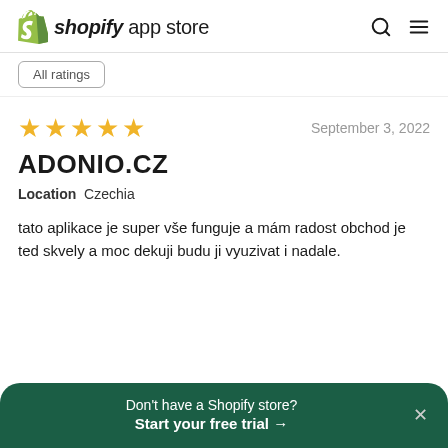shopify app store
All ratings
[Figure (other): Five gold star rating]
September 3, 2022
ADONIO.CZ
Location  Czechia
tato aplikace je super vše funguje a mám radost obchod je ted skvely a moc dekuji budu ji vyuzivat i nadale.
Don't have a Shopify store? Start your free trial →